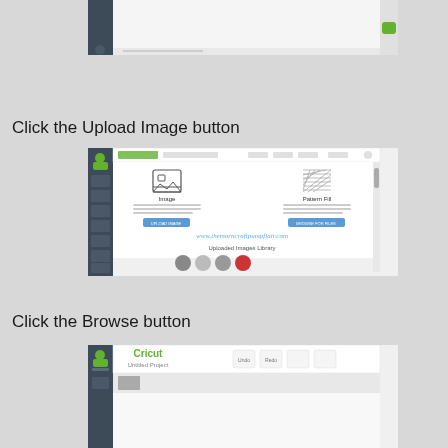[Figure (screenshot): Cricut Design Space interface screenshot showing the canvas area, partially cropped at top]
Click the Upload Image button
[Figure (screenshot): Cricut Design Space upload panel showing Image and Pattern Fill options, with Upload Image and Browse For Files buttons, and an Uploaded Images Library section]
Click the Browse button
[Figure (screenshot): Cricut Design Space interface showing the top navigation bar with Cricut logo and Untitled Project label]